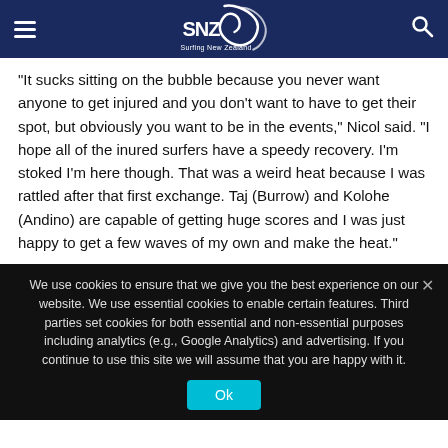[Figure (logo): Surfing New Zealand logo with wave graphic and text 'SNZ' and 'Surfing New Zealand' on dark blue header bar with hamburger menu and search icon]
“It sucks sitting on the bubble because you never want anyone to get injured and you don’t want to have to get their spot, but obviously you want to be in the events,” Nicol said. “I hope all of the inured surfers have a speedy recovery. I’m stoked I’m here though. That was a weird heat because I was rattled after that first exchange. Taj (Burrow) and Kolohe (Andino) are capable of getting huge scores and I was just happy to get a few waves of my own and make the heat.”
We use cookies to ensure that we give you the best experience on our website. We use essential cookies to enable certain features. Third parties set cookies for both essential and non-essential purposes including analytics (e.g., Google Analytics) and advertising. If you continue to use this site we will assume that you are happy with it.